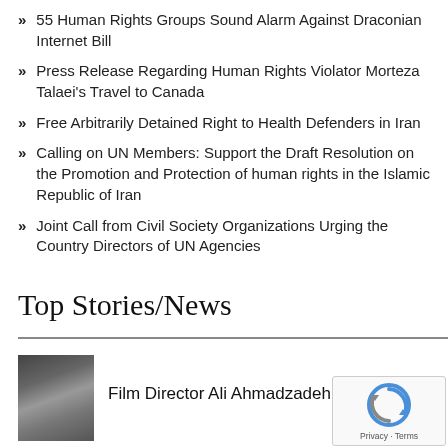55 Human Rights Groups Sound Alarm Against Draconian Internet Bill
Press Release Regarding Human Rights Violator Morteza Talaei's Travel to Canada
Free Arbitrarily Detained Right to Health Defenders in Iran
Calling on UN Members: Support the Draft Resolution on the Promotion and Protection of human rights in the Islamic Republic of Iran
Joint Call from Civil Society Organizations Urging the Country Directors of UN Agencies
Top Stories/News
[Figure (photo): Black and white photo of a person, likely Film Director Ali Ahmadzadeh]
Film Director Ali Ahmadzadeh Arrested